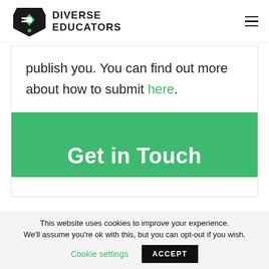[Figure (logo): Diverse Educators logo — stylized DE monogram in black and green with the text DIVERSE EDUCATORS in bold black]
publish you. You can find out more about how to submit here.
Get in Touch
This website uses cookies to improve your experience. We'll assume you're ok with this, but you can opt-out if you wish. Cookie settings ACCEPT